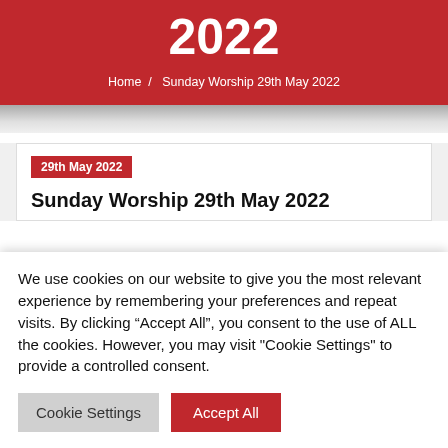2022
Home / Sunday Worship 29th May 2022
29th May 2022
Sunday Worship 29th May 2022
We use cookies on our website to give you the most relevant experience by remembering your preferences and repeat visits. By clicking “Accept All”, you consent to the use of ALL the cookies. However, you may visit "Cookie Settings" to provide a controlled consent.
Cookie Settings
Accept All